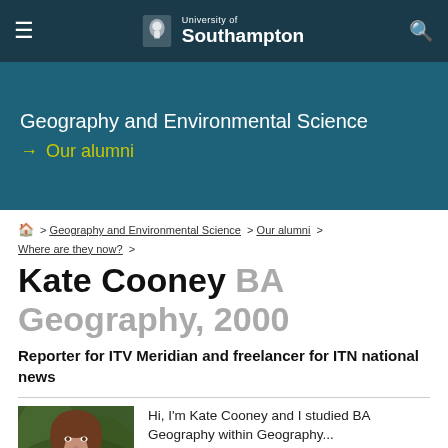University of Southampton
Geography and Environmental Science → Our alumni
Home > Geography and Environmental Science > Our alumni > Where are they now? >
Kate Cooney BA Geography, 2000
Reporter for ITV Meridian and freelancer for ITN national news
[Figure (photo): Portrait photo of Kate Cooney]
Hi, I'm Kate Cooney and I studied BA Geography within Geography...